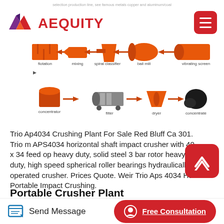selection production line, see famous metals copper and aluminum/coal
[Figure (infographic): Process flow diagram showing mineral processing steps: flotation → mixing → spiral classifier → ball mill → vibrating screen (top row), then concentrator → filter → dryer → concentrate (bottom row), connected by red arrows]
Trio Ap4034 Crushing Plant For Sale Red Bluff Ca 301. Trio m APS4034 horizontal shaft impact crusher with 40 x 34 feed op heavy duty, solid steel 3 bar rotor heavy duty, high speed spherical roller bearings hydraulically operated crusher. Prices Quote. Weir Trio Aps 4034 Hsi Portable Impact Crushing.
Portable Crusher Plant
Bauxite crushing and beneficiation – Kefid Machinery. Bauxite
Send Message | Free Consultation